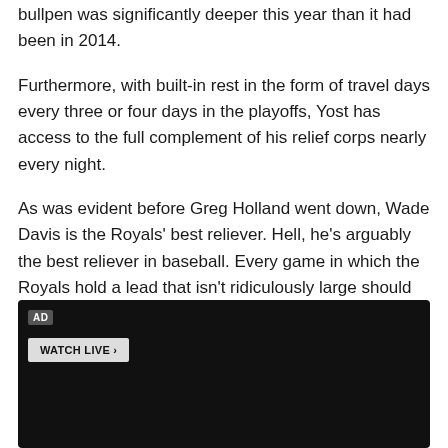bullpen was significantly deeper this year than it had been in 2014.
Furthermore, with built-in rest in the form of travel days every three or four days in the playoffs, Yost has access to the full complement of his relief corps nearly every night.
As was evident before Greg Holland went down, Wade Davis is the Royals' best reliever. Hell, he's arguably the best reliever in baseball. Every game in which the Royals hold a lead that isn't ridiculously large should and will get closed out by Wade Davis.
[Figure (screenshot): Black video player box with AD label and WATCH LIVE button]